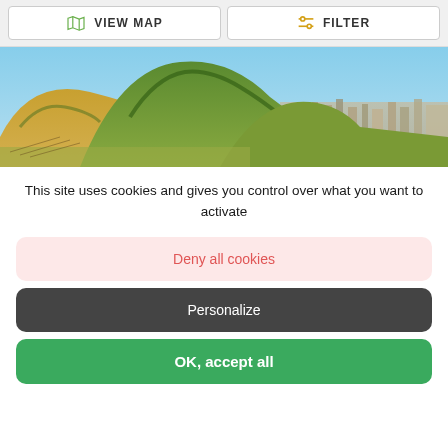[Figure (screenshot): Toolbar with VIEW MAP and FILTER buttons]
[Figure (photo): Aerial landscape photo showing green hills and a city in the background under a blue sky]
This site uses cookies and gives you control over what you want to activate
Deny all cookies
Personalize
OK, accept all